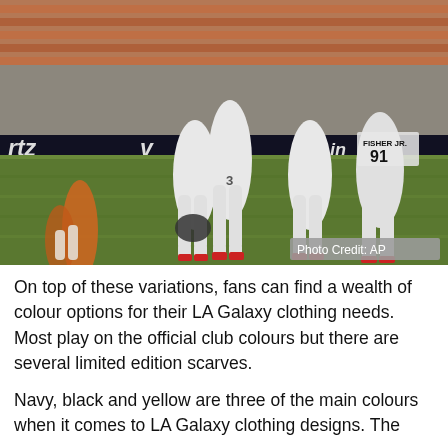[Figure (photo): Soccer players in white LA Galaxy uniforms on a green field, with one player wearing number 91 (Fisher Jr.) visible on the back. Orange-uniformed opposing players visible on the left. Stadium advertising boards reading 'rtz', 'v', and 'in' visible in the background. Photo Credit: AP shown in bottom-right corner.]
On top of these variations, fans can find a wealth of colour options for their LA Galaxy clothing needs. Most play on the official club colours but there are several limited edition scarves.
Navy, black and yellow are three of the main colours when it comes to LA Galaxy clothing designs. The